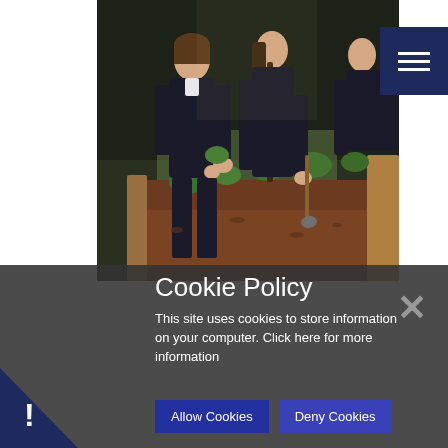[Figure (photo): School students in dark uniforms tending a raised garden bed with plants and soil outdoors, with a dark hedge in the background]
Cookie Policy
This site uses cookies to store information on your computer. Click here for more information
Allow Cookies
Deny Cookies